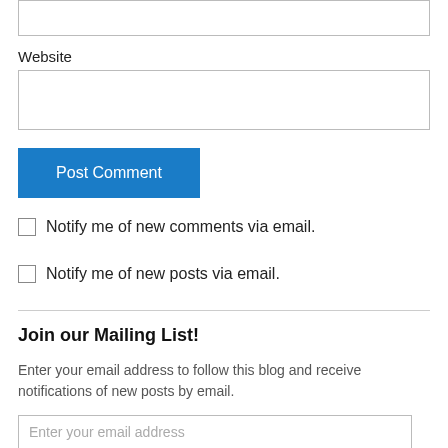Website
Post Comment
Notify me of new comments via email.
Notify me of new posts via email.
Join our Mailing List!
Enter your email address to follow this blog and receive notifications of new posts by email.
Enter your email address